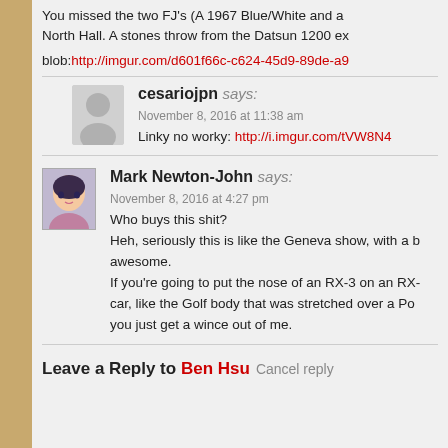You missed the two FJ's (A 1967 Blue/White and a... North Hall. A stones throw from the Datsun 1200 ex...
blob:http://imgur.com/d601f66c-c624-45d9-89de-a9...
cesariojpn says:
November 8, 2016 at 11:38 am
Linky no worky: http://i.imgur.com/tVW8N4...
Mark Newton-John says:
November 8, 2016 at 4:27 pm
Who buys this shit?
Heh, seriously this is like the Geneva show, with a b... awesome.
If you're going to put the nose of an RX-3 on an RX-... car, like the Golf body that was stretched over a Po... you just get a wince out of me.
Leave a Reply to Ben Hsu Cancel reply